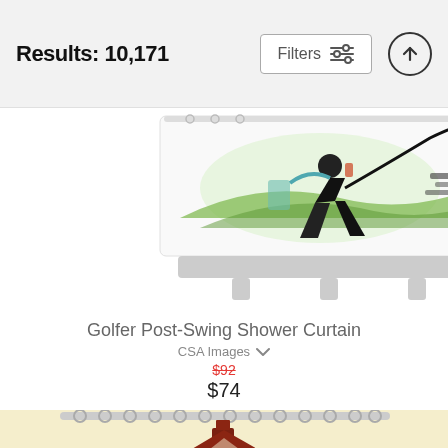Results: 10,171
[Figure (photo): Partial view of a shower curtain on a bathtub rod featuring a golfer post-swing illustration with green and black artwork on white background]
Golfer Post-Swing Shower Curtain
CSA Images
$92
$74
[Figure (photo): Partial view of a shower curtain on a curved rod featuring a dark red/brown stylized ship or pagoda illustration on cream/beige background]